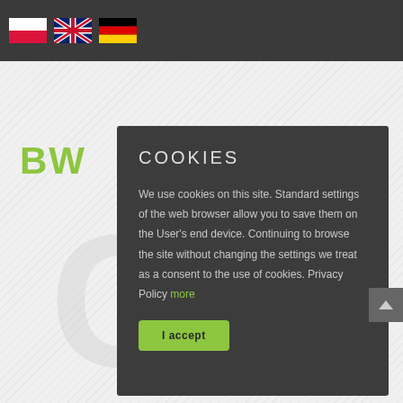[Figure (screenshot): Website header bar with three national flag icons: Polish flag, UK flag, German flag on dark grey background]
[Figure (logo): Green bold 'BW' logo text on light grey website background]
COOKIES
We use cookies on this site. Standard settings of the web browser allow you to save them on the User's end device. Continuing to browse the site without changing the settings we treat as a consent to the use of cookies. Privacy Policy more
I accept